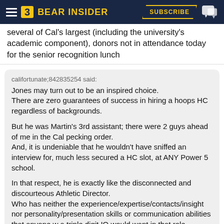BEAR INSIDER | SUBSCRIBE
several of Cal's largest (including the university's academic component), donors not in attendance today for the senior recognition lunch
califortunate;842835254 said:
Jones may turn out to be an inspired choice.
There are zero guarantees of success in hiring a hoops HC regardless of backgrounds.

But he was Martin's 3rd assistant; there were 2 guys ahead of me in the Cal pecking order.
And, it is undeniable that he wouldn't have sniffed an interview for, much less secured a HC slot, at ANY Power 5 school.

In that respect, he is exactly like the disconnected and discourteous Athletic Director.
Who has neither the experience/expertise/contacts/insight nor personality/presentation skills or communication abilities that anyone w a triple digit IQ would want in that role.

Cal fans/alums/donors deserve much better than having someone so smug and inept as Williams as AD.
The hope of many is that he will resign and soon...